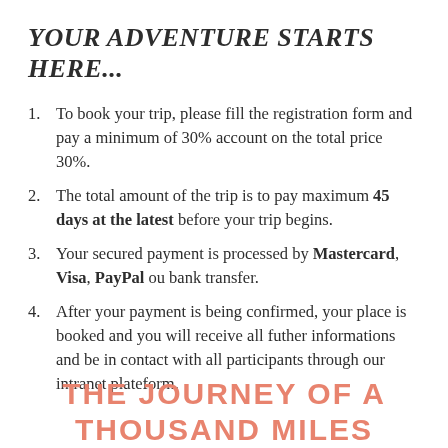YOUR ADVENTURE STARTS HERE...
To book your trip, please fill the registration form and pay a minimum of 30% account on the total price 30%.
The total amount of the trip is to pay maximum 45 days at the latest before your trip begins.
Your secured payment is processed by Mastercard, Visa, PayPal ou bank transfer.
After your payment is being confirmed, your place is booked and you will receive all futher informations and be in contact with all participants through our intranet plateform.
THE JOURNEY OF A THOUSAND MILES